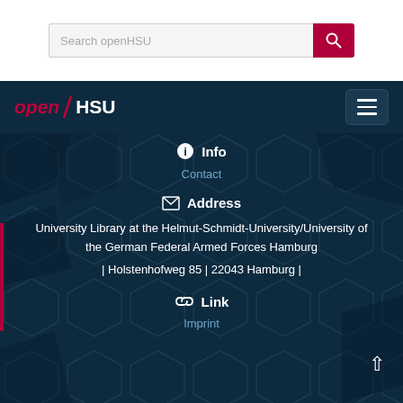[Figure (screenshot): Search bar with text 'Search openHSU' and a red search button with magnifying glass icon]
[Figure (logo): openHSU logo in dark navy navigation bar with hamburger menu button on right]
Info
Contact
Address
University Library at the Helmut-Schmidt-University/University of the German Federal Armed Forces Hamburg
| Holstenhofweg 85 | 22043 Hamburg |
Link
Imprint